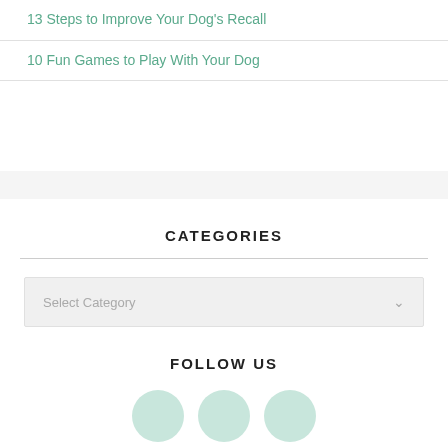13 Steps to Improve Your Dog's Recall
10 Fun Games to Play With Your Dog
CATEGORIES
Select Category
FOLLOW US
[Figure (illustration): Three partially visible circular social media icon buttons in light mint/teal color at the bottom of the page]